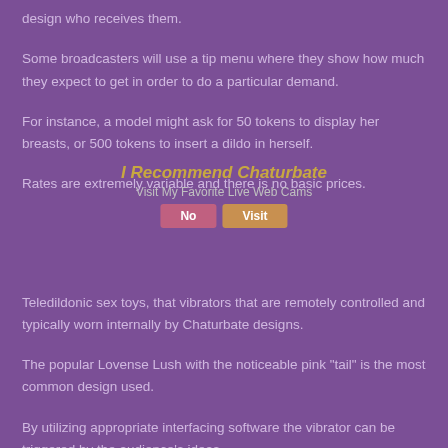design who receives them.
Some broadcasters will use a tip menu where they show how much they expect to get in order to do a particular demand.
For instance, a model might ask for 50 tokens to display her breasts, or 500 tokens to insert a dildo in herself.
Rates are extremely variable and there is no basic prices.
[Figure (infographic): Overlay banner reading 'I Recommend Chaturbate / Visit My Favorite Live Web Cams' with No and Visit buttons]
Teledildonic sex toys, that vibrators that are remotely controlled and typically worn internally by Chaturbate designs.
The popular Lovense Lush with the noticeable pink "tail" is the most common design used.
By utilizing appropriate interfacing software the vibrator can be triggered by the audience's ideas.